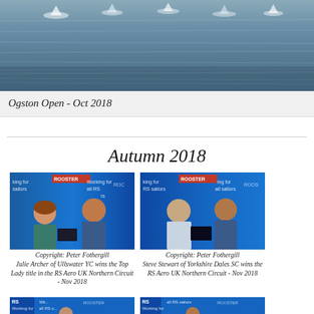[Figure (photo): Aerial/wide-angle photo of sailboats on a lake or reservoir, choppy water, Ogston Open event Oct 2018]
Ogston Open - Oct 2018
Autumn 2018
[Figure (photo): Award ceremony photo - woman and man with Rooster banners in background. Copyright: Peter Fothergill. Julie Archer of Ullswater YC wins the Top Lady title in the RS Aero UK Northern Circuit - Nov 2018]
Copyright: Peter Fothergill
Julie Archer of Ullswater YC wins the Top Lady title in the RS Aero UK Northern Circuit - Nov 2018
[Figure (photo): Award ceremony photo - two men with Rooster banners in background. Copyright: Peter Fothergill. Steve Stewart of Yorkshire Dales SC wins the RS Aero UK Northern Circuit - Nov 2018]
Copyright: Peter Fothergill
Steve Stewart of Yorkshire Dales SC wins the RS Aero UK Northern Circuit - Nov 2018
[Figure (photo): Partial photo at bottom left - RS sailing event with banners]
[Figure (photo): Partial photo at bottom right - RS sailing event with banners]